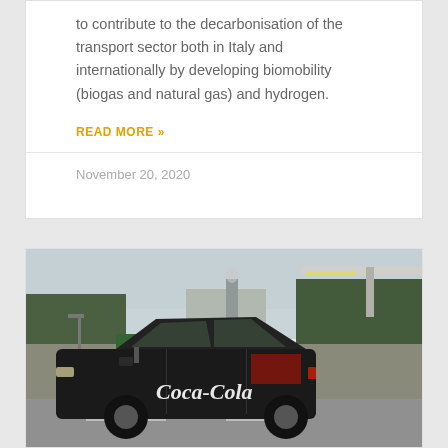to contribute to the decarbonisation of the transport sector both in Italy and internationally by developing biomobility (biogas and natural gas) and hydrogen.
READ MORE »
November 20, 2020
[Figure (photo): A dark Coca-Cola branded car (Skoda Octavia or similar) at a gas station. In the background there are trees, industrial buildings with a chimney, and a red truck. The scene appears to be in a Northern European country.]